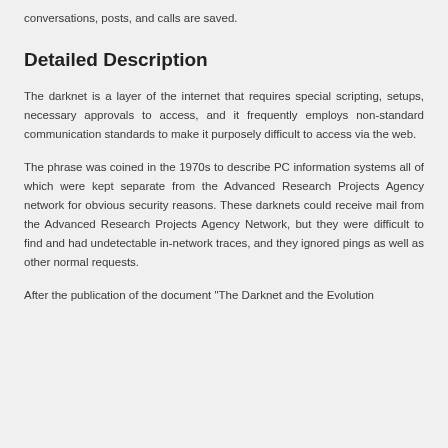conversations, posts, and calls are saved.
Detailed Description
The darknet is a layer of the internet that requires special scripting, setups, necessary approvals to access, and it frequently employs non-standard communication standards to make it purposely difficult to access via the web.
The phrase was coined in the 1970s to describe PC information systems all of which were kept separate from the Advanced Research Projects Agency network for obvious security reasons. These darknets could receive mail from the Advanced Research Projects Agency Network, but they were difficult to find and had undetectable in-network traces, and they ignored pings as well as other normal requests.
After the publication of the document "The Darknet and the Evolution